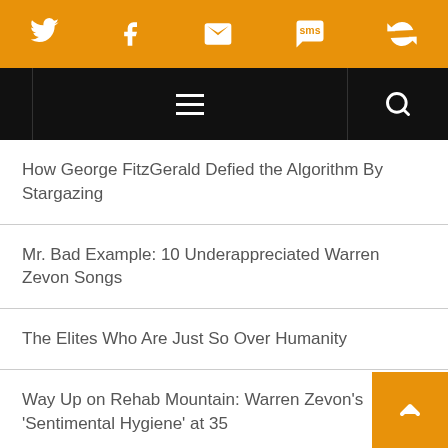Social share bar with Twitter, Facebook, Email, SMS, and another icon
Navigation bar with hamburger menu and search icon
How George FitzGerald Defied the Algorithm By Stargazing
Mr. Bad Example: 10 Underappreciated Warren Zevon Songs
The Elites Who Are Just So Over Humanity
Way Up on Rehab Mountain: Warren Zevon’s ‘Sentimental Hygiene’ at 35